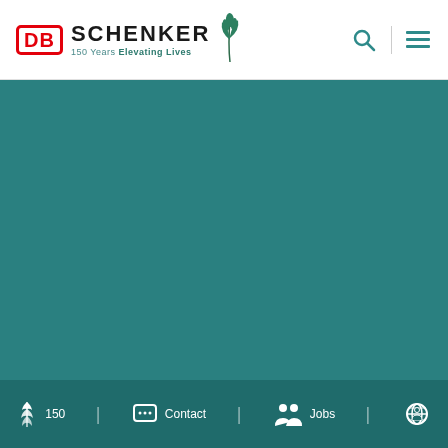[Figure (logo): DB Schenker logo with red DB box, SCHENKER text, 150 Years Elevating Lives tagline, and a plant/wheat icon]
[Figure (other): Teal/dark cyan colored background area filling the main content area of the page]
150 | Contact | Jobs |